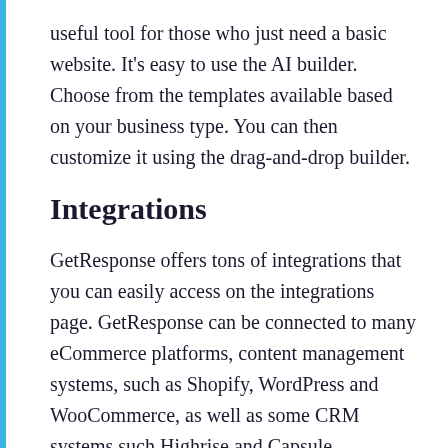useful tool for those who just need a basic website. It's easy to use the AI builder. Choose from the templates available based on your business type. You can then customize it using the drag-and-drop builder.
Integrations
GetResponse offers tons of integrations that you can easily access on the integrations page. GetResponse can be connected to many eCommerce platforms, content management systems, such as Shopify, WordPress and WooCommerce, as well as some CRM systems such Highrise and Capsule.
You can connect with payment gateways, social media apps, landing pages, popup builders, and conversion tools.
Another way you can integrate GetResponse with different